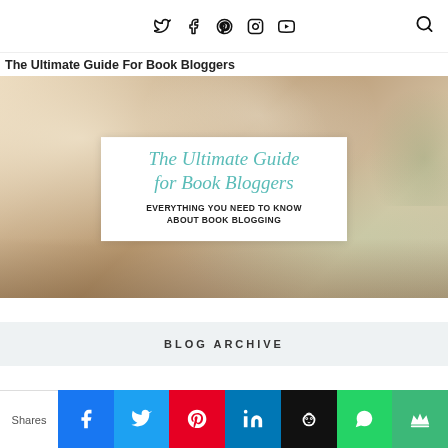Social icons (Twitter, Facebook, Pinterest, Instagram, YouTube) and search icon
The Ultimate Guide For Book Bloggers
[Figure (photo): Hero image with blurred desk/laptop background and white card overlay showing italic teal script 'The Ultimate Guide for Book Bloggers' with subtitle 'EVERYTHING YOU NEED TO KNOW ABOUT BOOK BLOGGING']
BLOG ARCHIVE
Shares | Facebook | Twitter | Pinterest | LinkedIn | Hootsuite | WhatsApp | Crown share button